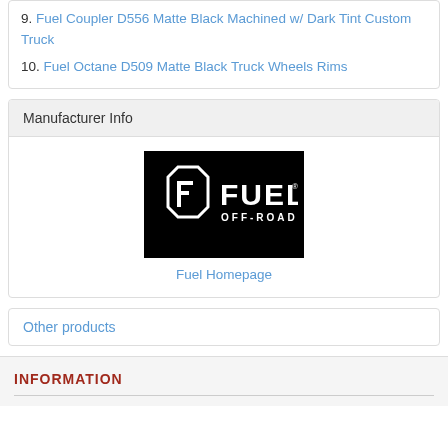9. Fuel Coupler D556 Matte Black Machined w/ Dark Tint Custom Truck
10. Fuel Octane D509 Matte Black Truck Wheels Rims
Manufacturer Info
[Figure (logo): Fuel Off-Road logo on black background]
Fuel Homepage
Other products
INFORMATION